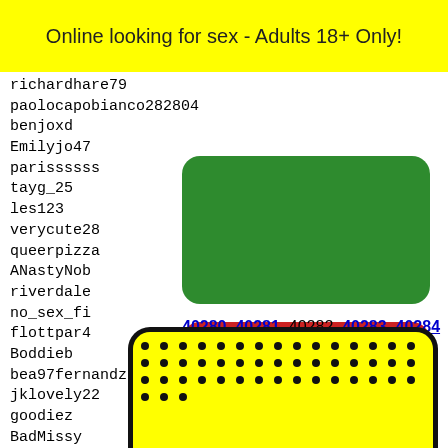Online looking for sex - Adults 18+ Only!
richardhare79
paolocapobianco282804
benjoxd
Emilyjo47
parissssss
tayg_25
les123
verycute28
queerpizza
ANastyNob
riverdale
no_sex_fi
flottpar4
Boddieb
bea97fernandz
jklovely22
goodiez
BadMissy
catherinneee
-fedea~~
pierco
sharon
aunatu
lewesS
peterl
[Figure (other): Green rounded rectangle button (no label)]
[Figure (other): Red rounded rectangle button with EXIT label in white]
40280 40281 40282 40283 40284
[Figure (other): Yellow rounded rectangle with black dots pattern and partial face/mascot at bottom]